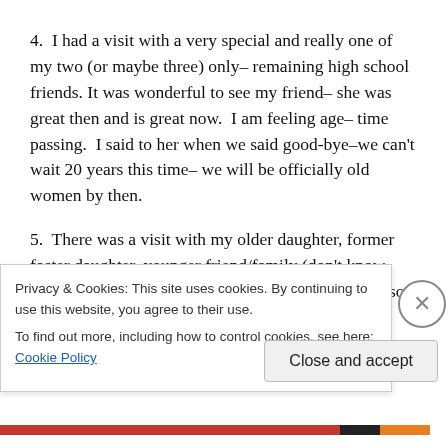4.  I had a visit with a very special and really one of my two (or maybe three) only– remaining high school friends. It was wonderful to see my friend– she was great then and is great now.  I am feeling age– time passing.  I said to her when we said good-bye–we can't wait 20 years this time– we will be officially old women by then.
5.  There was a visit with my older daughter, former foster daughter, younger friend/family (don't know what to call her) and F's husband and two-year-old son, both of whom we all three really adore in addition to our love for
Privacy & Cookies: This site uses cookies. By continuing to use this website, you agree to their use.
To find out more, including how to control cookies, see here: Cookie Policy
Close and accept